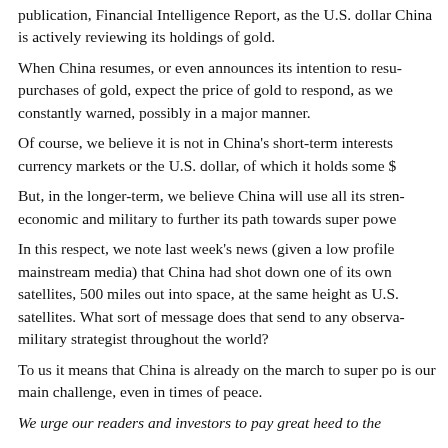publication, Financial Intelligence Report, as the U.S. dollar China is actively reviewing its holdings of gold.
When China resumes, or even announces its intention to resume purchases of gold, expect the price of gold to respond, as we constantly warned, possibly in a major manner.
Of course, we believe it is not in China's short-term interests currency markets or the U.S. dollar, of which it holds some $
But, in the longer-term, we believe China will use all its strength economic and military to further its path towards super power
In this respect, we note last week's news (given a low profile mainstream media) that China had shot down one of its own satellites, 500 miles out into space, at the same height as U.S. satellites. What sort of message does that send to any observant military strategist throughout the world?
To us it means that China is already on the march to super power is our main challenge, even in times of peace.
We urge our readers and investors to pay great heed to the...